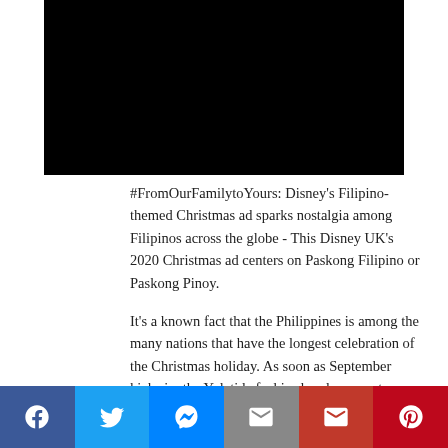[Figure (photo): Black rectangle representing a video thumbnail]
#FromOurFamilytoYours: Disney’s Filipino-themed Christmas ad sparks nostalgia among Filipinos across the globe - This Disney UK’s 2020 Christmas ad centers on Paskong Filipino or Paskong Pinoy.
It’s a known fact that the Philippines is among the many nations that have the longest celebration of the Christmas holiday. As soon as September kicks in, the Yuletide feel is already present.
Social share bar: Facebook, Twitter, Messenger, Email, Gmail, Pinterest